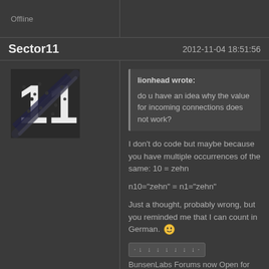Offline
Sector11
2012-11-04 18:51:56
[Figure (illustration): Avatar image showing stylized '11' with crossed rifles on dark background]
lionhead wrote:
do u have an idea why the value for incoming connections does not work?
I don't do code but maybe because you have multiple occurrences of the same: 10 = zehn
n10="zehn" = n1="zehn"
Just a thought, probably wrong, but you reminded me that I can count in German. 😀
BunsenLabs Forums now Open for Registration  BL ModSquad